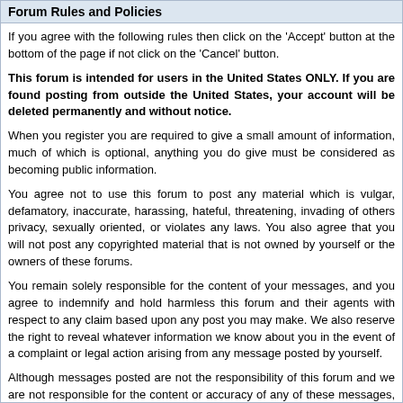Forum Rules and Policies
If you agree with the following rules then click on the 'Accept' button at the bottom of the page if not click on the 'Cancel' button.
This forum is intended for users in the United States ONLY. If you are found posting from outside the United States, your account will be deleted permanently and without notice.
When you register you are required to give a small amount of information, much of which is optional, anything you do give must be considered as becoming public information.
You agree not to use this forum to post any material which is vulgar, defamatory, inaccurate, harassing, hateful, threatening, invading of others privacy, sexually oriented, or violates any laws. You also agree that you will not post any copyrighted material that is not owned by yourself or the owners of these forums.
You remain solely responsible for the content of your messages, and you agree to indemnify and hold harmless this forum and their agents with respect to any claim based upon any post you may make. We also reserve the right to reveal whatever information we know about you in the event of a complaint or legal action arising from any message posted by yourself.
Although messages posted are not the responsibility of this forum and we are not responsible for the content or accuracy of any of these messages, we reserve the right to delete any message for any or no reason whatsoever. If you do find any posts are objectionable then please contact the forum by e-mail.